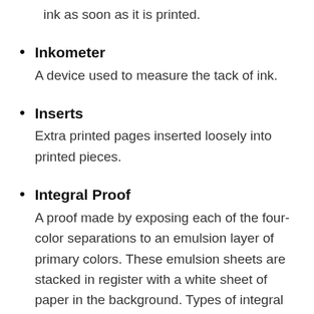ink as soon as it is printed.
Inkometer
A device used to measure the tack of ink.
Inserts
Extra printed pages inserted loosely into printed pieces.
Integral Proof
A proof made by exposing each of the four-color separations to an emulsion layer of primary colors. These emulsion sheets are stacked in register with a white sheet of paper in the background. Types of integral proofs are cromalin, matchprint, ektaflex, and spactraproof.